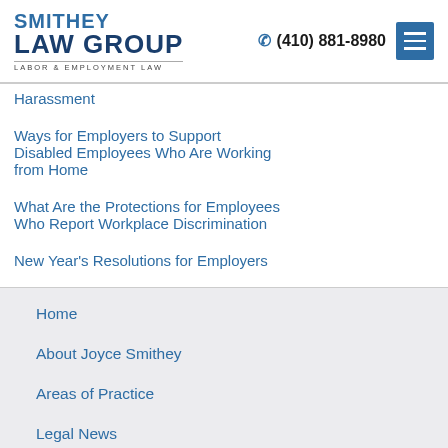[Figure (logo): Smithey Law Group logo with text SMITHEY LAW GROUP LABOR & EMPLOYMENT LAW]
(410) 881-8980
Harassment
Ways for Employers to Support Disabled Employees Who Are Working from Home
What Are the Protections for Employees Who Report Workplace Discrimination
New Year's Resolutions for Employers
Home
About Joyce Smithey
Areas of Practice
Legal News
Resources
Contact